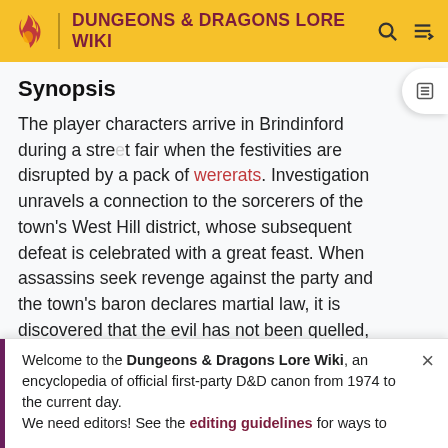DUNGEONS & DRAGONS LORE WIKI
Synopsis
The player characters arrive in Brindinford during a street fair when the festivities are disrupted by a pack of wererats. Investigation unravels a connection to the sorcerers of the town's West Hill district, whose subsequent defeat is celebrated with a great feast. When assassins seek revenge against the party and the town's baron declares martial law, it is discovered that the evil has not been quelled, and the player characters must seek out the enigmatic leader who commanded the
Welcome to the Dungeons & Dragons Lore Wiki, an encyclopedia of official first-party D&D canon from 1974 to the current day.
We need editors! See the editing guidelines for ways to